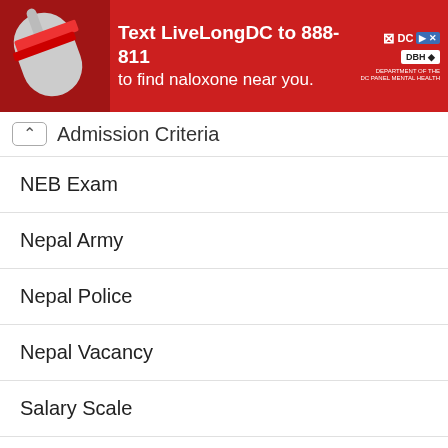[Figure (infographic): Red advertisement banner: Text LiveLongDC to 888-811 to find naloxone near you. DC government health logos on right. Image of naloxone on left.]
Admission Criteria
NEB Exam
Nepal Army
Nepal Police
Nepal Vacancy
Salary Scale
Scholarship Notice